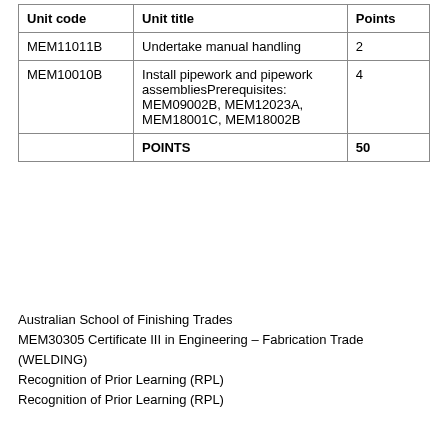| Unit code | Unit title | Points |
| --- | --- | --- |
| MEM11011B | Undertake manual handling | 2 |
| MEM10010B | Install pipework and pipework assembliesPrerequisites: MEM09002B, MEM12023A, MEM18001C, MEM18002B | 4 |
|  | POINTS | 50 |
Australian School of Finishing Trades
MEM30305 Certificate III in Engineering – Fabrication Trade (WELDING)
Recognition of Prior Learning (RPL)
Recognition of Prior Learning (RPL)